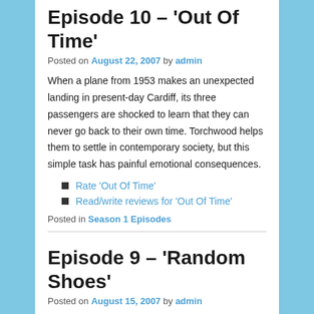Episode 10 – 'Out Of Time'
Posted on August 22, 2007 by admin
When a plane from 1953 makes an unexpected landing in present-day Cardiff, its three passengers are shocked to learn that they can never go back to their own time. Torchwood helps them to settle in contemporary society, but this simple task has painful emotional consequences.
Rate 'Out Of Time'
Read/write reviews for 'Out Of Time'
Posted in Season 1 Episodes
Episode 9 – 'Random Shoes'
Posted on August 15, 2007 by admin